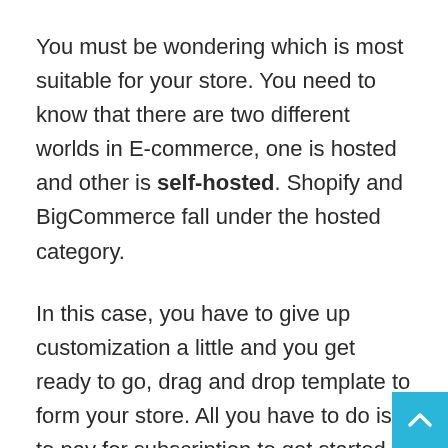You must be wondering which is most suitable for your store. You need to know that there are two different worlds in E-commerce, one is hosted and other is self-hosted. Shopify and BigCommerce fall under the hosted category.
In this case, you have to give up customization a little and you get ready to go, drag and drop template to form your store. All you have to do is to pay for subscription to get started.
If you want to get rid of the subscription fee and want more customized options then WooCommerce and Magneto are the most suitable options. I’d personally suggest you this route because with this you will have limitless options.
Several plugins are already available which allows you to take a break from coding every little thing up. Between